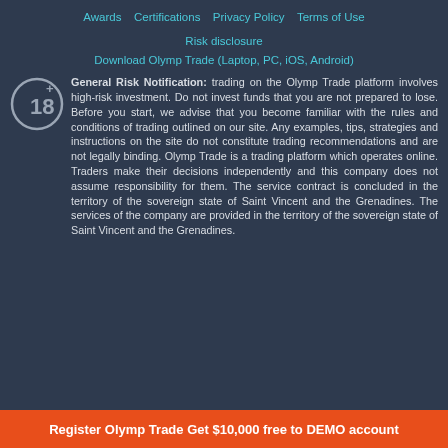Awards   Certifications   Privacy Policy   Terms of Use
Risk disclosure
Download Olymp Trade (Laptop, PC, iOS, Android)
General Risk Notification: trading on the Olymp Trade platform involves high-risk investment. Do not invest funds that you are not prepared to lose. Before you start, we advise that you become familiar with the rules and conditions of trading outlined on our site. Any examples, tips, strategies and instructions on the site do not constitute trading recommendations and are not legally binding. Olymp Trade is a trading platform which operates online. Traders make their decisions independently and this company does not assume responsibility for them. The service contract is concluded in the territory of the sovereign state of Saint Vincent and the Grenadines. The services of the company are provided in the territory of the sovereign state of Saint Vincent and the Grenadines.
Register Olymp Trade Get $10,000 free to DEMO account